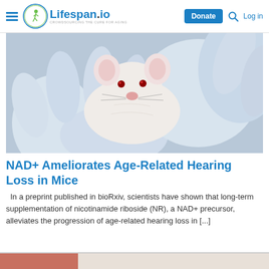Lifespan.io — Donate | Log in
[Figure (photo): Close-up photo of a white lab mouse being held in gloved hands]
NAD+ Ameliorates Age-Related Hearing Loss in Mice
In a preprint published in bioRxiv, scientists have shown that long-term supplementation of nicotinamide riboside (NR), a NAD+ precursor, alleviates the progression of age-related hearing loss in [...]